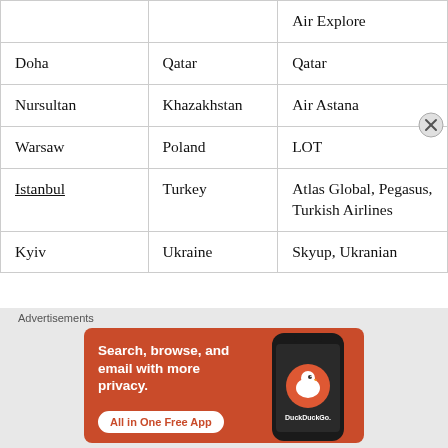|  |  | Air Explore |
| Doha | Qatar | Qatar |
| Nursultan | Khazakhstan | Air Astana |
| Warsaw | Poland | LOT |
| Istanbul | Turkey | Atlas Global, Pegasus, Turkish Airlines |
| Kyiv | Ukraine | Skyup, Ukranian |
Advertisements
[Figure (other): DuckDuckGo advertisement banner: orange background with text 'Search, browse, and email with more privacy. All in One Free App' alongside a stylized phone showing the DuckDuckGo app logo.]